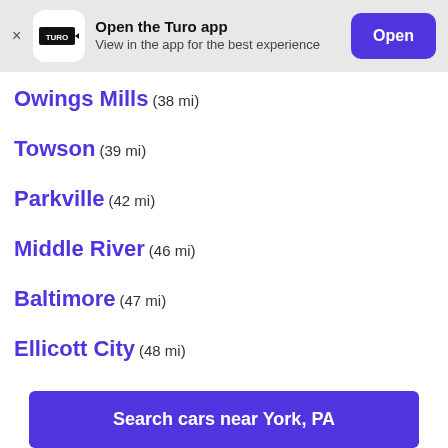[Figure (screenshot): App banner for Turo with logo, 'Open the Turo app' text, 'View in the app for the best experience' subtitle, and a purple 'Open' button]
Owings Mills (38 mi)
Towson (39 mi)
Parkville (42 mi)
Middle River (46 mi)
Baltimore (47 mi)
Ellicott City (48 mi)
Search cars near York, PA